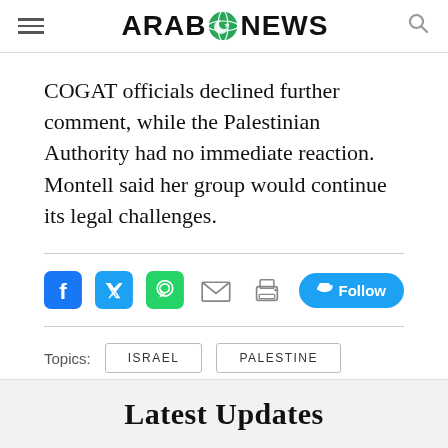ARAB NEWS
COGAT officials declined further comment, while the Palestinian Authority had no immediate reaction. Montell said her group would continue its legal challenges.
[Figure (infographic): Social media share icons: Facebook, Twitter, WhatsApp, Email, Print, and a Twitter Follow button]
Topics: ISRAEL  PALESTINE
Latest Updates